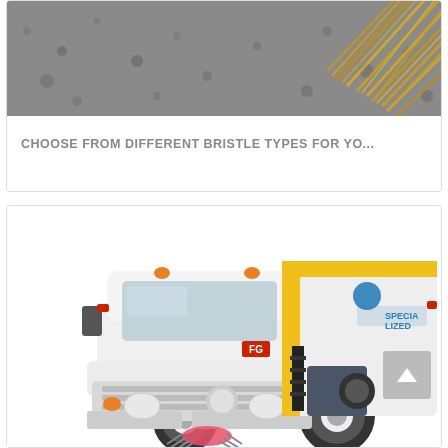[Figure (photo): Close-up of yellow/gold bristles of a sweeper brush on grey asphalt surface]
CHOOSE FROM DIFFERENT BRISTLE TYPES FOR YO...
[Figure (photo): White Hino 500 FG road sweeper truck with yellow and black Specialized branding on the hopper body, pink side brush visible, shown on white background]